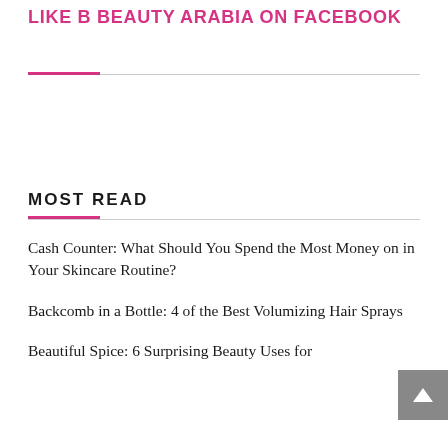LIKE B BEAUTY ARABIA ON FACEBOOK
MOST READ
Cash Counter: What Should You Spend the Most Money on in Your Skincare Routine?
Backcomb in a Bottle: 4 of the Best Volumizing Hair Sprays
Beautiful Spice: 6 Surprising Beauty Uses for